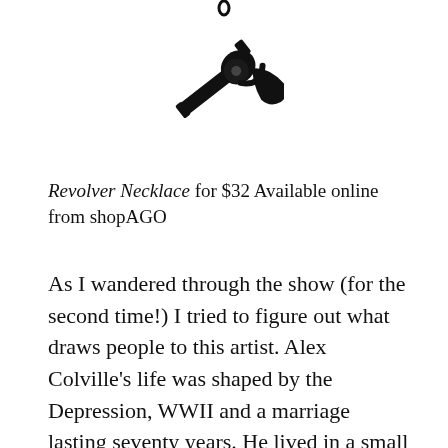[Figure (illustration): Black silhouette of a revolver/handgun pendant, oriented diagonally with barrel pointing upper-left, as a necklace charm against a white background.]
Revolver Necklace for $32 Available online from shopAGO
As I wandered through the show (for the second time!) I tried to figure out what draws people to this artist. Alex Colville's life was shaped by the Depression, WWII and a marriage lasting seventy years. He lived in a small town. Those few facts constitute a set of experiences shared by few people living today. And yet the crowds seemed to identify and recognize something personal.